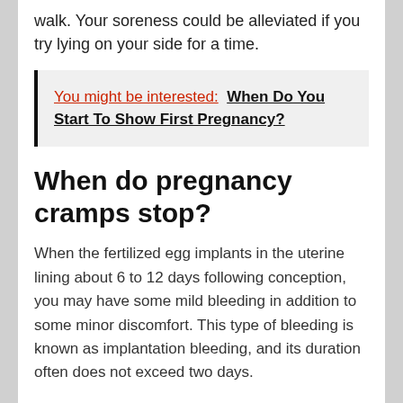walk. Your soreness could be alleviated if you try lying on your side for a time.
You might be interested:  When Do You Start To Show First Pregnancy?
When do pregnancy cramps stop?
When the fertilized egg implants in the uterine lining about 6 to 12 days following conception, you may have some mild bleeding in addition to some minor discomfort. This type of bleeding is known as implantation bleeding, and its duration often does not exceed two days.